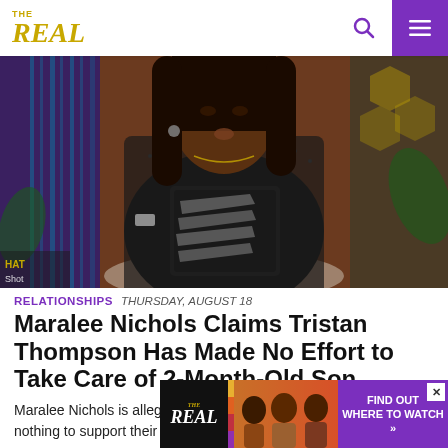THE REAL
[Figure (photo): A Black woman with long straight hair wearing a black lace top with a zebra-print graphic, seated in a chair on a colorful TV talk show set]
RELATIONSHIPS  THURSDAY, AUGUST 18
Maralee Nichols Claims Tristan Thompson Has Made No Effort to Take Care of 2-Month-Old Son
Maralee Nichols is alleging that Tristan Thompson has done nothing to support their 2-month-old son. Does this add insult t
[Figure (infographic): Advertisement banner for The Real show with host photos and text FIND OUT WHERE TO WATCH]